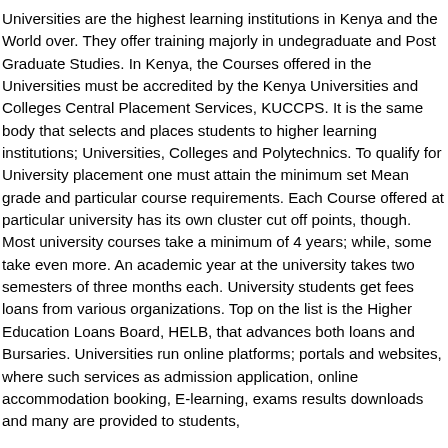Universities are the highest learning institutions in Kenya and the World over. They offer training majorly in undegraduate and Post Graduate Studies. In Kenya, the Courses offered in the Universities must be accredited by the Kenya Universities and Colleges Central Placement Services, KUCCPS. It is the same body that selects and places students to higher learning institutions; Universities, Colleges and Polytechnics. To qualify for University placement one must attain the minimum set Mean grade and particular course requirements. Each Course offered at particular university has its own cluster cut off points, though. Most university courses take a minimum of 4 years; while, some take even more. An academic year at the university takes two semesters of three months each. University students get fees loans from various organizations. Top on the list is the Higher Education Loans Board, HELB, that advances both loans and Bursaries. Universities run online platforms; portals and websites, where such services as admission application, online accommodation booking, E-learning, exams results downloads and many are provided to students,